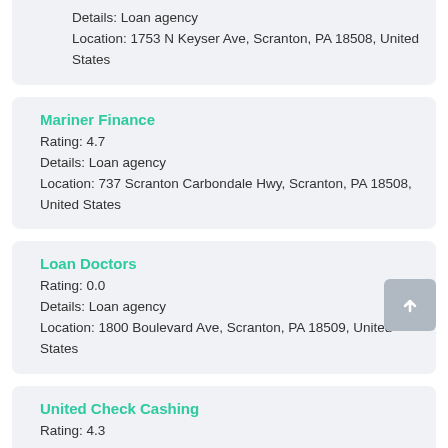Details: Loan agency
Location: 1753 N Keyser Ave, Scranton, PA 18508, United States
Mariner Finance
Rating: 4.7
Details: Loan agency
Location: 737 Scranton Carbondale Hwy, Scranton, PA 18508, United States
Loan Doctors
Rating: 0.0
Details: Loan agency
Location: 1800 Boulevard Ave, Scranton, PA 18509, United States
United Check Cashing
Rating: 4.3